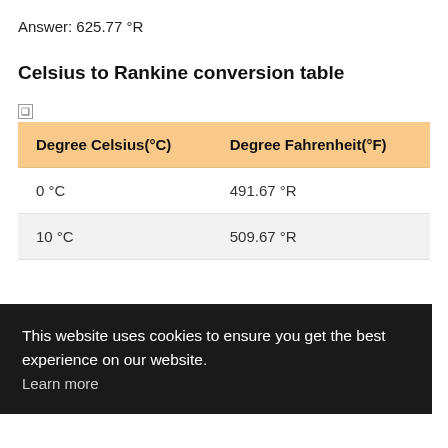Answer: 625.77 °R
Celsius to Rankine conversion table
| Degree Celsius(°C) | Degree Fahrenheit(°F) |
| --- | --- |
| 0 °C | 491.67 °R |
| 10 °C | 509.67 °R |
This website uses cookies to ensure you get the best experience on our website.
Learn more